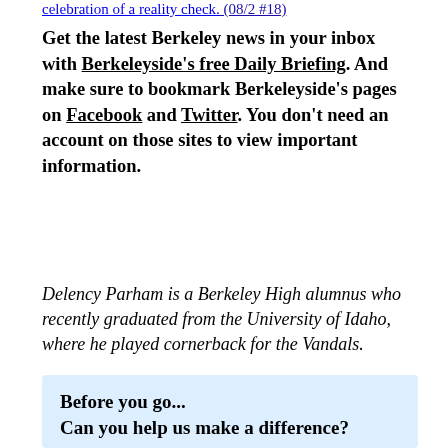celebration of a reality check. (08/2 #18)
Get the latest Berkeley news in your inbox with Berkeleyside's free Daily Briefing. And make sure to bookmark Berkeleyside's pages on Facebook and Twitter. You don't need an account on those sites to view important information.
Delency Parham is a Berkeley High alumnus who recently graduated from the University of Idaho, where he played cornerback for the Vandals.
Before you go...
Can you help us make a difference?

The reporters and editors at Berkeleyside